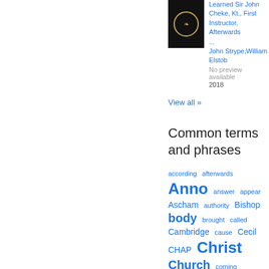[Figure (illustration): Book cover thumbnail with dark background and laurel wreath emblem]
Learned Sir John Cheke, Kt., First Instructor, Afterwards ...
John Strype,William Elstob
No preview available
2018
View all »
Common terms and phrases
according
afterwards
Anno
answer
appear
Ascham
authority
Bishop
body
brought
called
Cambridge
cause
Cecil
CHAP
Christ
Church
coming